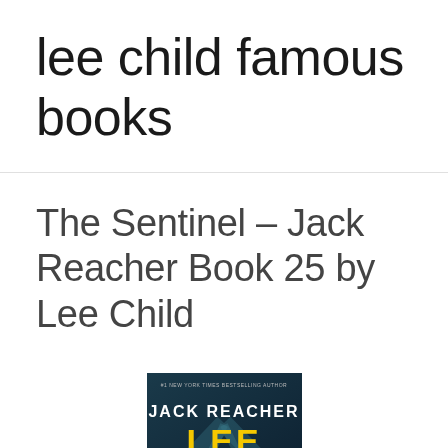lee child famous books
The Sentinel – Jack Reacher Book 25 by Lee Child
[Figure (illustration): Book cover for The Sentinel, Jack Reacher Book 25 by Lee Child, showing dark background with 'JACK REACHER' and 'LEE' text in bold yellow/white lettering]